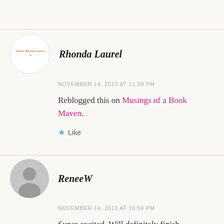[Figure (photo): Circular avatar with 'Author Rhonda Laurel' logo text]
Rhonda Laurel
NOVEMBER 14, 2013 AT 11:39 PM
Reblogged this on Musings of a Book Maven.
Like
[Figure (illustration): Circular gray generic user avatar icon]
ReneeW
NOVEMBER 14, 2013 AT 10:54 PM
Super excited. Will definitely finish tonight!!!!